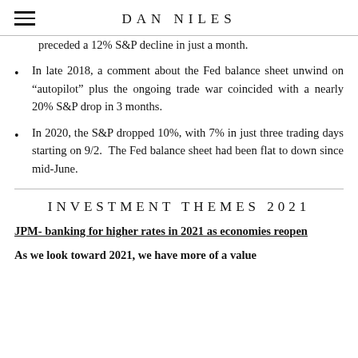DAN NILES
preceded a 12% S&P decline in just a month.
In late 2018, a comment about the Fed balance sheet unwind on “autopilot” plus the ongoing trade war coincided with a nearly 20% S&P drop in 3 months.
In 2020, the S&P dropped 10%, with 7% in just three trading days starting on 9/2. The Fed balance sheet had been flat to down since mid-June.
INVESTMENT THEMES 2021
JPM- banking for higher rates in 2021 as economies reopen
As we look toward 2021, we have more of a value